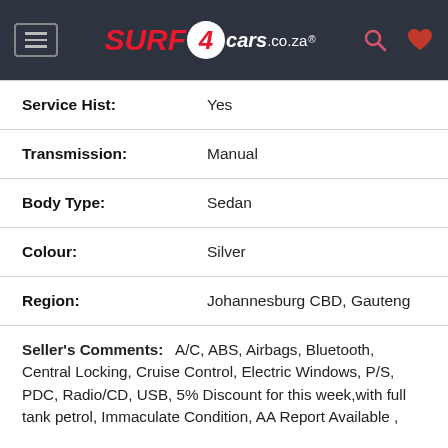SURF4cars.co.za
| Field | Value |
| --- | --- |
| Service Hist: | Yes |
| Transmission: | Manual |
| Body Type: | Sedan |
| Colour: | Silver |
| Region: | Johannesburg CBD, Gauteng |
Seller's Comments: A/C, ABS, Airbags, Bluetooth, Central Locking, Cruise Control, Electric Windows, P/S, PDC, Radio/CD, USB, 5% Discount for this week,with full tank petrol, Immaculate Condition, AA Report Available ,